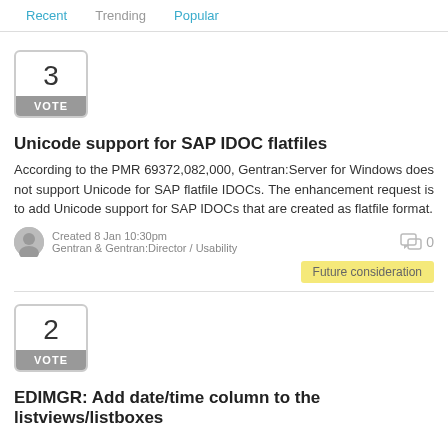Recent | Trending | Popular
3 VOTE
Unicode support for SAP IDOC flatfiles
According to the PMR 69372,082,000, Gentran:Server for Windows does not support Unicode for SAP flatfile IDOCs. The enhancement request is to add Unicode support for SAP IDOCs that are created as flatfile format.
Created 8 Jan 10:30pm
Gentran & Gentran:Director / Usability
0
Future consideration
2 VOTE
EDIMGR: Add date/time column to the listviews/listboxes of the In and Out document comments